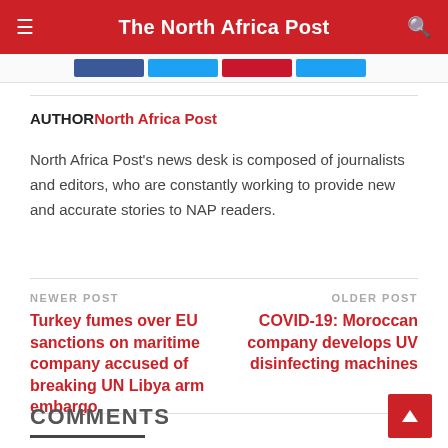The North Africa Post
[Figure (screenshot): Social sharing buttons strip (Facebook, Twitter, etc.) partially visible]
AUTHOR North Africa Post
North Africa Post's news desk is composed of journalists and editors, who are constantly working to provide new and accurate stories to NAP readers.
NEWER POST
Turkey fumes over EU sanctions on maritime company accused of breaking UN Libya arm embargo
OLDER POST
COVID-19: Moroccan company develops UV disinfecting machines
COMMENTS